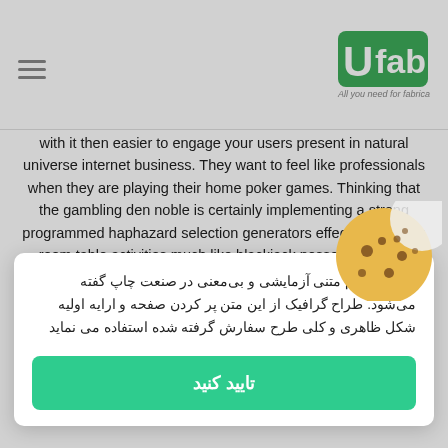UFab - All you need for fabrication
with it then easier to engage your users present in natural universe internet business. They want to feel like professionals when they are playing their home poker games. Thinking that the gambling den noble is certainly implementing a strong programmed haphazard selection generators effectively, dining room table activities much like blackjack possess a strong started household style.
Before getting to the totally free slots half, you should...
لورم اپیسوم متنی آزمایشی و بی‌معنی در صنعت چاپ گفته می‌شود. طراح گرافیک از این متن پر کردن صفحه و ارایه اولیه شکل ظاهری و کلی طرح سفارش گرفته شده استفاده می نماید
تایید کنید